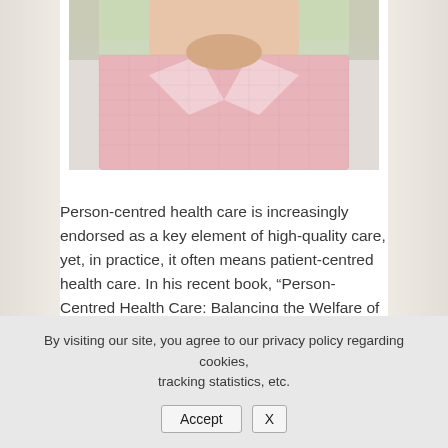[Figure (photo): Partial photo of a man wearing a pink checked shirt, cropped at the neck and shoulders, upper portion visible against a blurred outdoor background]
Person-centred health care is increasingly endorsed as a key element of high-quality care, yet, in practice, it often means patient-centred health care. In his recent book, “Person-Centred Health Care: Balancing the Welfare of Clinicians and Patients”, Stephen Buetow clarifies differences
By visiting our site, you agree to our privacy policy regarding cookies, tracking statistics, etc.